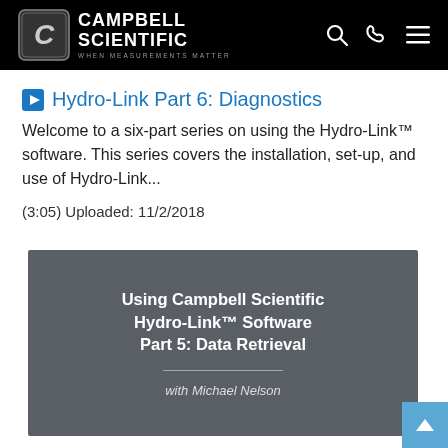Campbell Scientific - WHEN MEASUREMENTS MATTER
Hydro-Link Part 6: Diagnostics
Welcome to a six-part series on using the Hydro-Link™ software. This series covers the installation, set-up, and use of Hydro-Link...
(3:05) Uploaded: 11/2/2018
[Figure (screenshot): Video thumbnail showing 'Using Campbell Scientific Hydro-Link™ Software Part 5: Data Retrieval with Michael Nelson' on a dark grey background]